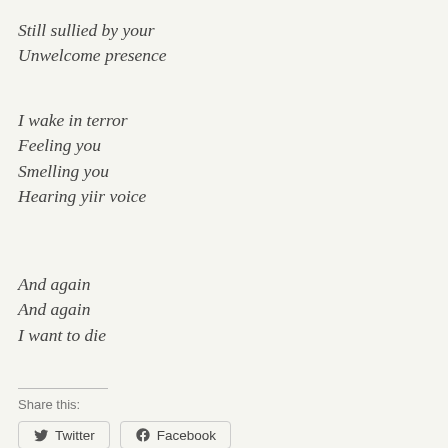Still sullied by your
Unwelcome presence
I wake in terror
Feeling you
Smelling you
Hearing yiir voice
And again
And again
I want to die
Share this:
Twitter  Facebook